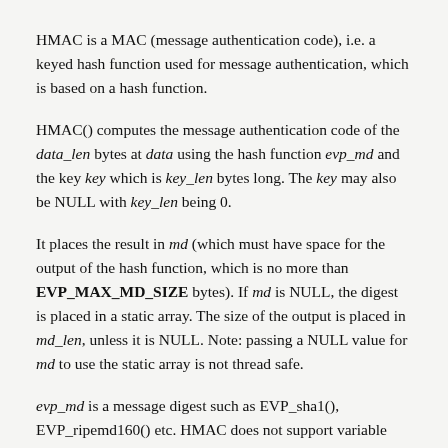HMAC is a MAC (message authentication code), i.e. a keyed hash function used for message authentication, which is based on a hash function.
HMAC() computes the message authentication code of the data_len bytes at data using the hash function evp_md and the key key which is key_len bytes long. The key may also be NULL with key_len being 0.
It places the result in md (which must have space for the output of the hash function, which is no more than EVP_MAX_MD_SIZE bytes). If md is NULL, the digest is placed in a static array. The size of the output is placed in md_len, unless it is NULL. Note: passing a NULL value for md to use the static array is not thread safe.
evp_md is a message digest such as EVP_sha1(), EVP_ripemd160() etc. HMAC does not support variable